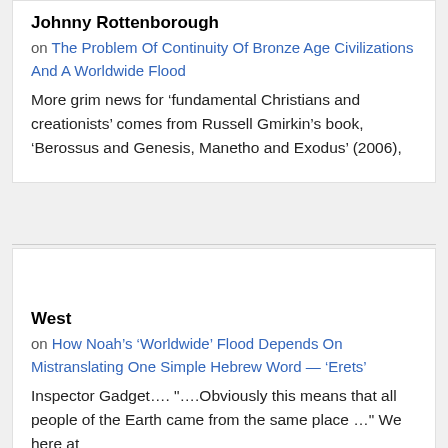Johnny Rottenborough
on The Problem Of Continuity Of Bronze Age Civilizations And A Worldwide Flood
More grim news for ‘fundamental Christians and creationists’ comes from Russell Gmirkin’s book, ‘Berossus and Genesis, Manetho and Exodus’ (2006),
[Figure (illustration): Generic user avatar icon, grey silhouette of a person on light grey circle background]
•
West
on How Noah’s ‘Worldwide’ Flood Depends On Mistranslating One Simple Hebrew Word — ‘Erets’
Inspector Gadget…. "….Obviously this means that all people of the Earth came from the same place …" We here at